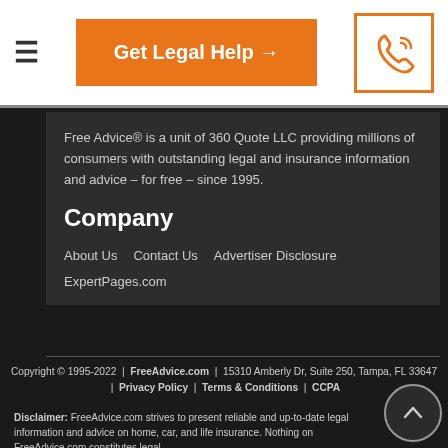Get Legal Help →
Free Advice® is a unit of 360 Quote LLC providing millions of consumers with outstanding legal and insurance information and advice – for free – since 1995.
Company
About Us
Contact Us
Advertiser Disclosure
ExpertPages.com
Copyright © 1995-2022 | FreeAdvice.com | 15310 Amberly Dr, Suite 250, Tampa, FL 33647 | Privacy Policy | Terms & Conditions | CCPA
Disclaimer: FreeAdvice.com strives to present reliable and up-to-date legal information and advice on home, car, and life insurance. Nothing on FreeAdvice.com constitutes legal advice and all content is provided for informational purposes only.